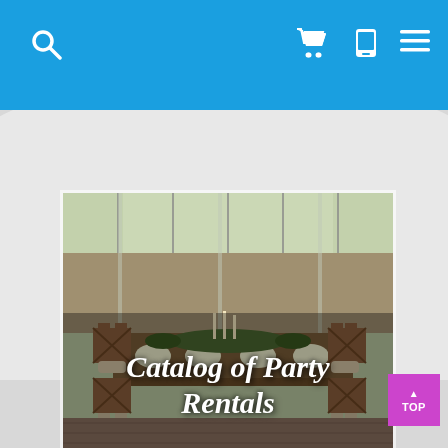Navigation bar with search, cart, phone, and menu icons
[Figure (photo): Event/wedding venue photo showing wooden cross-back chairs and long dining tables set with plates, greenery, and candles in a glass-enclosed space. Overlaid text reads 'Catalog of Party Rentals' in white italic font.]
Catalog of Party Rentals